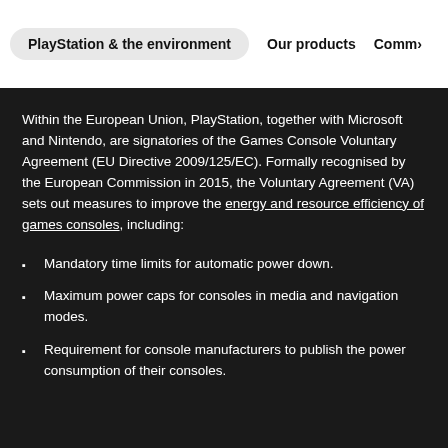PlayStation & the environment | Our products | Comm>
Within the European Union, PlayStation, together with Microsoft and Nintendo, are signatories of the Games Console Voluntary Agreement (EU Directive 2009/125/EC). Formally recognised by the European Commission in 2015, the Voluntary Agreement (VA) sets out measures to improve the energy and resource efficiency of games consoles, including:
Mandatory time limits for automatic power down.
Maximum power caps for consoles in media and navigation modes.
Requirement for console manufacturers to publish the power consumption of their consoles.